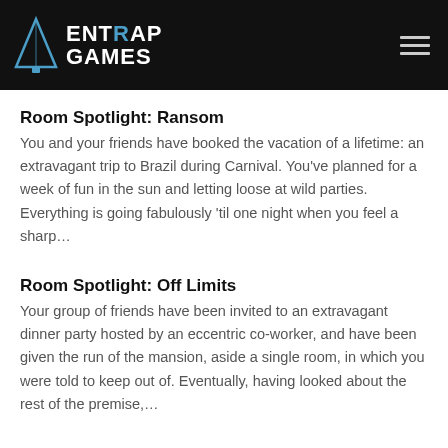[Figure (logo): Entrap Games logo with triangular icon and white text on black header bar with hamburger menu icon]
Room Spotlight: Ransom
You and your friends have booked the vacation of a lifetime: an extravagant trip to Brazil during Carnival. You’ve planned for a week of fun in the sun and letting loose at wild parties. Everything is going fabulously ‘til one night when you feel a sharp…
Room Spotlight: Off Limits
Your group of friends have been invited to an extravagant dinner party hosted by an eccentric co-worker, and have been given the run of the mansion, aside a single room, in which you were told to keep out of. Eventually, having looked about the rest of the premise,…